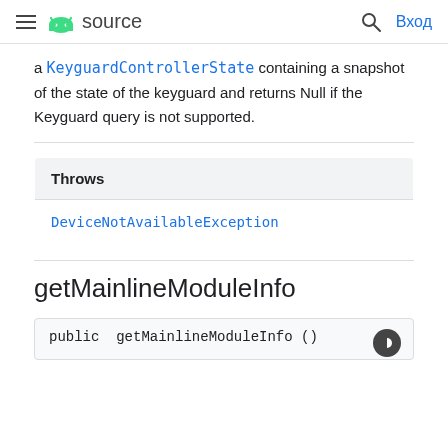≡  android source   🔍  Вход
a KeyguardControllerState containing a snapshot of the state of the keyguard and returns Null if the Keyguard query is not supported.
| Throws |
| --- |
| DeviceNotAvailableException |
getMainlineModuleInfo
public  getMainlineModuleInfo ()